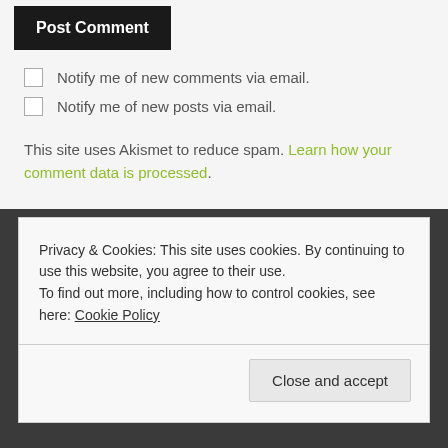Post Comment
Notify me of new comments via email.
Notify me of new posts via email.
This site uses Akismet to reduce spam. Learn how your comment data is processed.
Privacy & Cookies: This site uses cookies. By continuing to use this website, you agree to their use.
To find out more, including how to control cookies, see here: Cookie Policy
Close and accept